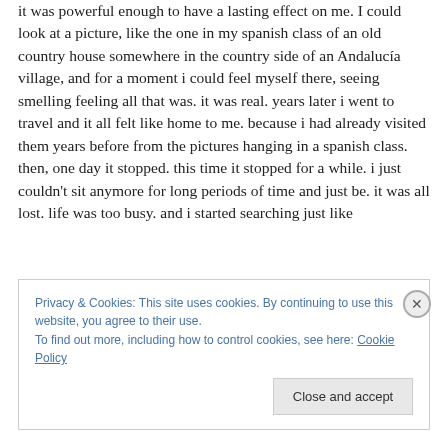it was powerful enough to have a lasting effect on me. I could look at a picture, like the one in my spanish class of an old country house somewhere in the country side of an Andalucía village, and for a moment i could feel myself there, seeing smelling feeling all that was. it was real. years later i went to travel and it all felt like home to me. because i had already visited them years before from the pictures hanging in a spanish class. then, one day it stopped. this time it stopped for a while. i just couldn't sit anymore for long periods of time and just be. it was all lost. life was too busy. and i started searching just like
Privacy & Cookies: This site uses cookies. By continuing to use this website, you agree to their use.
To find out more, including how to control cookies, see here: Cookie Policy